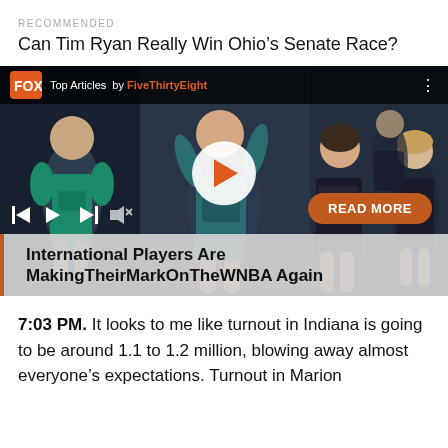RECOMMENDED
Can Tim Ryan Really Win Ohio’s Senate Race?
[Figure (screenshot): Video player screenshot showing WNBA basketball players, with FiveThirtyEight branding, play button, media controls, and a READ MORE button. Headline text: International Players Are MakingTheirMarkOnTheWNBA Again]
7:03 PM. It looks to me like turnout in Indiana is going to be around 1.1 to 1.2 million, blowing away almost everyone’s expectations. Turnout in Marion